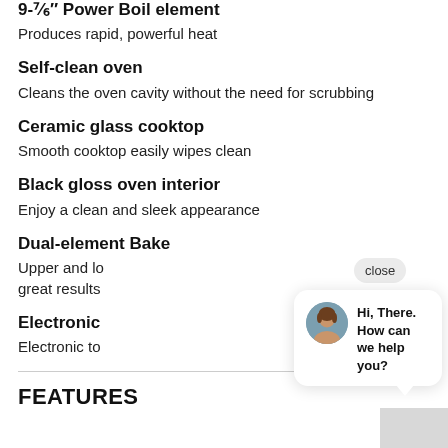9-⁷⁄₆″ Power Boil element
Produces rapid, powerful heat
Self-clean oven
Cleans the oven cavity without the need for scrubbing
Ceramic glass cooktop
Smooth cooktop easily wipes clean
Black gloss oven interior
Enjoy a clean and sleek appearance
Dual-element Bake
Upper and lower elements work together for great results
Electronic [partially visible]
Electronic to[partially visible]
[Figure (screenshot): Chat widget popup with avatar of a woman and text 'Hi, There. How can we help you?' and a close button, plus a dark navy circular chat icon in the bottom right]
FEATURES